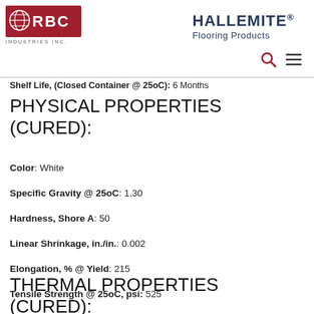[Figure (logo): RBC Industries Inc. logo with globe icon and red background]
[Figure (logo): HALLEMITE® Flooring Products logo in dark blue]
Shelf Life, (Closed Container @ 25oC): 6 Months
PHYSICAL PROPERTIES (CURED):
Color: White
Specific Gravity @ 25oC: 1.30
Hardness, Shore A: 50
Linear Shrinkage, in./in.: 0.002
Elongation, % @ Yield: 215
Tensile Strength @ 25oC, psi: 525
Tear Resistance, lbs./in.: 35
THERMAL PROPERTIES (CURED):